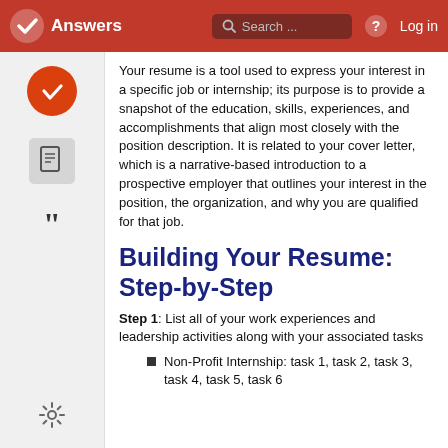Answers   Search ...   Log in
Your resume is a tool used to express your interest in a specific job or internship; its purpose is to provide a snapshot of the education, skills, experiences, and accomplishments that align most closely with the position description. It is related to your cover letter, which is a narrative-based introduction to a prospective employer that outlines your interest in the position, the organization, and why you are qualified for that job.
Building Your Resume: Step-by-Step
Step 1: List all of your work experiences and leadership activities along with your associated tasks
Non-Profit Internship: task 1, task 2, task 3, task 4, task 5, task 6